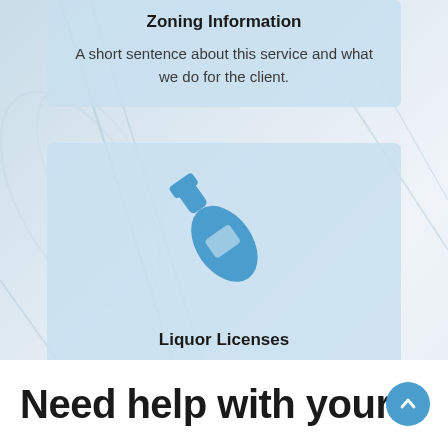Zoning Information
A short sentence about this service and what we do for the client.
[Figure (illustration): Blue bottle icon representing Liquor Licenses service]
Liquor Licenses
A short sentence about this service and what we do for the client.
Need help with your